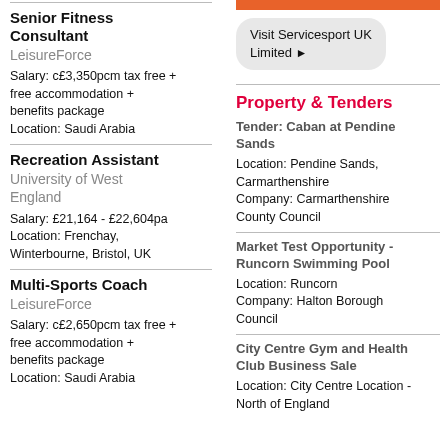Senior Fitness Consultant
LeisureForce
Salary: c£3,350pcm tax free + free accommodation + benefits package
Location: Saudi Arabia
Recreation Assistant
University of West England
Salary: £21,164 - £22,604pa
Location: Frenchay, Winterbourne, Bristol, UK
Multi-Sports Coach
LeisureForce
Salary: c£2,650pcm tax free + free accommodation + benefits package
Location: Saudi Arabia
Visit Servicesport UK Limited ▶
Property & Tenders
Tender: Caban at Pendine Sands
Location: Pendine Sands, Carmarthenshire
Company: Carmarthenshire County Council
Market Test Opportunity - Runcorn Swimming Pool
Location: Runcorn
Company: Halton Borough Council
City Centre Gym and Health Club Business Sale
Location: City Centre Location - North of England